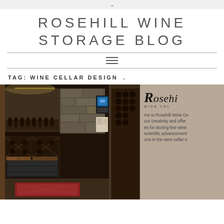∨
ROSEHILL WINE STORAGE BLOG
≡
TAG: WINE CELLAR DESIGN ∨
[Figure (photo): Interior of a wine cellar with dark wood racks, X-pattern lower sections, bottles stored horizontally, a temperature control panel on the wall, stone accent wall, and a decorative rug on the floor. Right side shows a partial Rosehill Wine Cellars logo overlay with text about creativity and storing fine wines.]